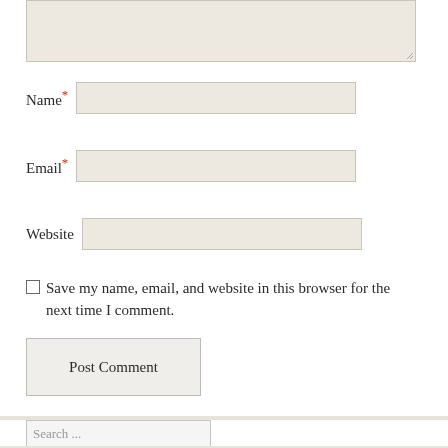Name*
Email*
Website
Save my name, email, and website in this browser for the next time I comment.
Post Comment
Search ...